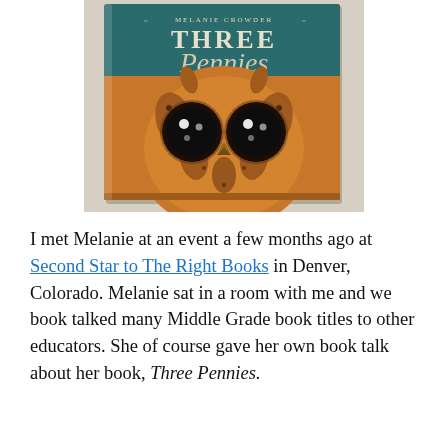[Figure (photo): A photograph of a book titled 'Three Pennies' by Melanie Crowder, featuring an illustrated owl face on the cover with a teal/dark green top portion showing the title and author name.]
I met Melanie at an event a few months ago at Second Star to The Right Books in Denver, Colorado. Melanie sat in a room with me and we book talked many Middle Grade book titles to other educators. She of course gave her own book talk about her book, Three Pennies. Although it was on my TBR pile, I hadn't yet